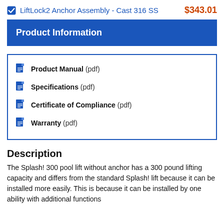LiftLock2 Anchor Assembly - Cast 316 SS  $343.01
Product Information
Product Manual (pdf)
Specifications (pdf)
Certificate of Compliance (pdf)
Warranty (pdf)
Description
The Splash! 300 pool lift without anchor has a 300 pound lifting capacity and differs from the standard Splash! lift because it can be installed more easily. This is because it can be installed by one ability with additional functions